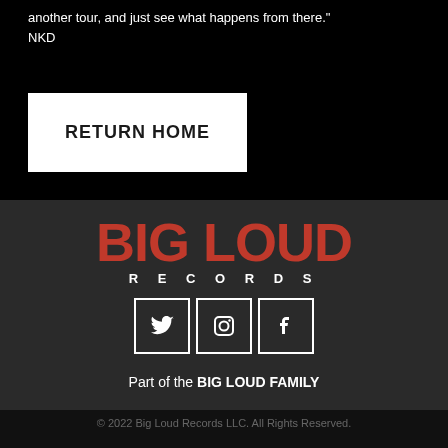another tour, and just see what happens from there." NKD
RETURN HOME
[Figure (logo): Big Loud Records logo in red bold text with RECORDS in white letters below]
[Figure (infographic): Three social media icons: Twitter, Instagram, Facebook in white bordered squares]
Part of the BIG LOUD FAMILY
© 2022 Big Loud Records LLC. All Rights Reserved.